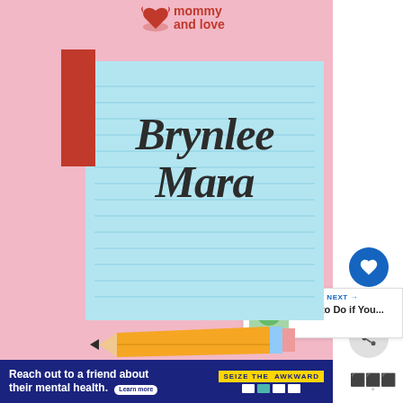[Figure (illustration): Pink background with a light blue notepad featuring ruled lines, a red bookmark tab on the left, and the cursive name 'Brynlee Mara' written in dark font. A pencil illustration is at the bottom.]
Brynlee Mara
[Figure (logo): Partial logo showing wings icon and text 'mommy and love' in red]
WHAT'S NEXT → What to Do if You...
Reach out to a friend about their mental health. Learn more
SEIZE THE AWKWARD